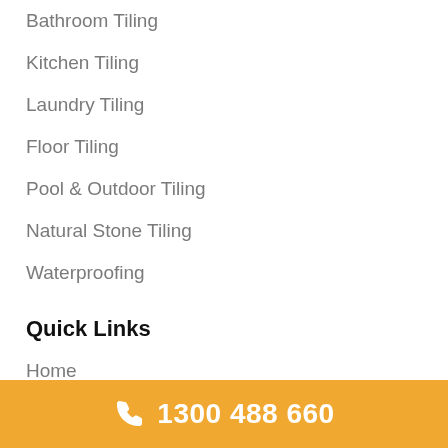Bathroom Tiling
Kitchen Tiling
Laundry Tiling
Floor Tiling
Pool & Outdoor Tiling
Natural Stone Tiling
Waterproofing
Quick Links
Home
Tiling Services
Advantages
1300 488 660